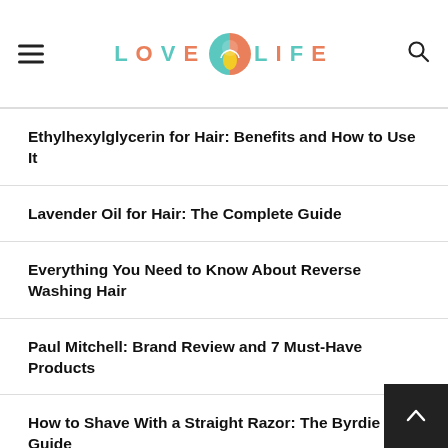LOVE LIFE
Ethylhexylglycerin for Hair: Benefits and How to Use It
Lavender Oil for Hair: The Complete Guide
Everything You Need to Know About Reverse Washing Hair
Paul Mitchell: Brand Review and 7 Must-Have Products
How to Shave With a Straight Razor: The Byrdie Boy Guide
Carrot Oil for Hair Growth—Does It Actually Work?